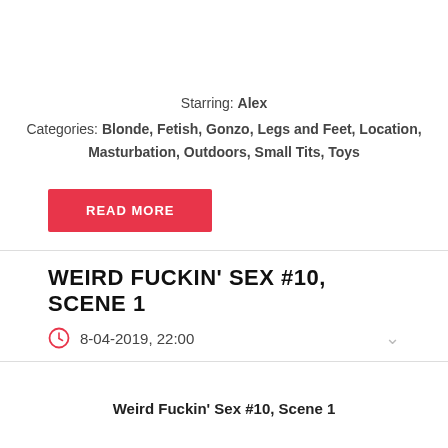[Figure (photo): Three video thumbnail images showing adult content]
Starring: Alex
Categories: Blonde, Fetish, Gonzo, Legs and Feet, Location, Masturbation, Outdoors, Small Tits, Toys
READ MORE
WEIRD FUCKIN' SEX #10, SCENE 1
8-04-2019, 22:00
Weird Fuckin' Sex #10, Scene 1
[Figure (photo): Three video thumbnail images for Weird Fuckin' Sex #10 Scene 1]